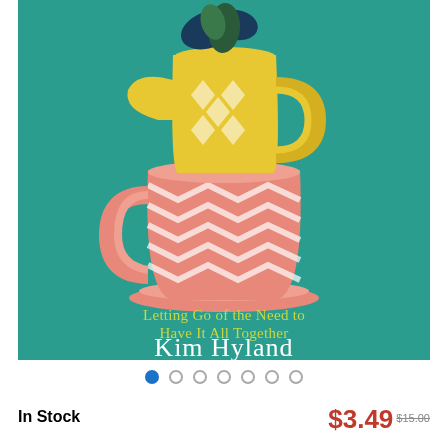[Figure (illustration): Book cover with teal background showing a pink chevron-patterned teacup with a yellow pitcher on top containing dark blue foliage. Text on cover reads 'Letting Go of the Need to Have It All Together' in yellow-green and 'Kim Hyland' in white.]
● ○ ○ ○ ○ ○ ○
In Stock
$3.49 $15.00